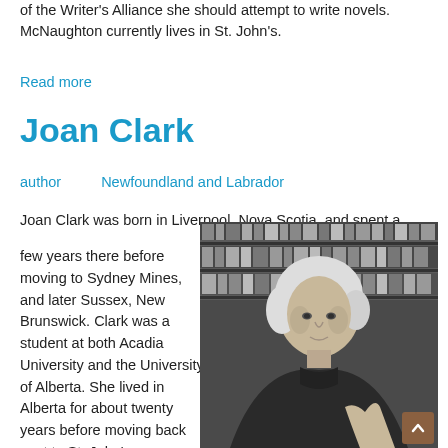of the Writer's Alliance she should attempt to write novels. McNaughton currently lives in St. John's.
Read more
Joan Clark
author     Newfoundland and Labrador
Joan Clark was born in Liverpool, Nova Scotia, and spent a few years there before moving to Sydney Mines, and later Sussex, New Brunswick. Clark was a student at both Acadia University and the University of Alberta. She lived in Alberta for about twenty years before moving back east to St. John's, Newfoundland. Clark has taught in schools, though not
[Figure (photo): Black and white photograph of Joan Clark, a woman with short white/blonde hair, wearing a dark turtleneck sweater, seated in front of bookshelves.]